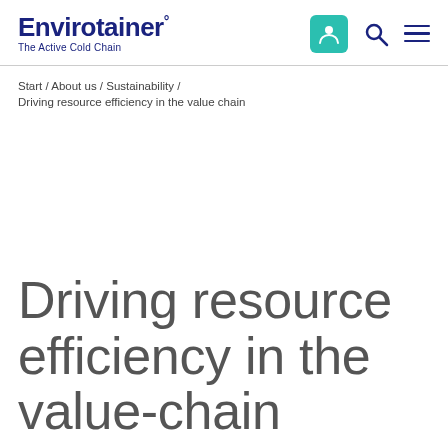Envirotainer° The Active Cold Chain
Start / About us / Sustainability / Driving resource efficiency in the value chain
Driving resource efficiency in the value-chain